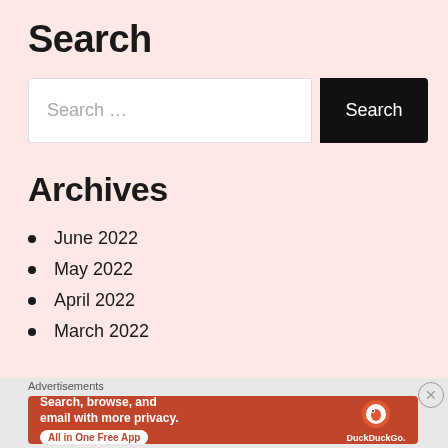Search
Search …
Archives
June 2022
May 2022
April 2022
March 2022
Advertisements
[Figure (illustration): DuckDuckGo advertisement banner: orange background with text 'Search, browse, and email with more privacy. All in One Free App' and DuckDuckGo logo on right side with smartphone graphic.]